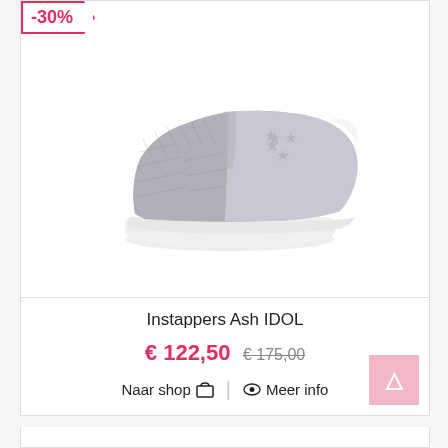[Figure (photo): Silver metallic slip-on sneaker (Ash IDOL) with star embossed pattern and white sole, photographed on white background]
-30%
Instappers Ash IDOL
€ 122,50  € 175,00
Naar shop 🛒 | 👁 Meer info